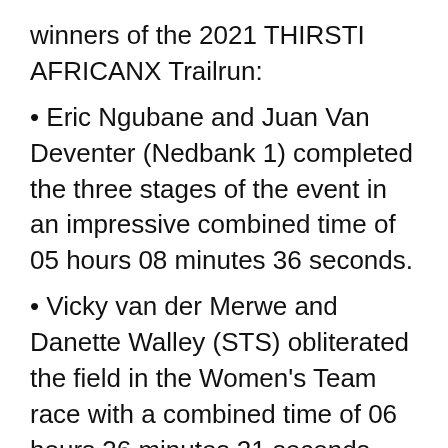winners of the 2021 THIRSTI AFRICANX Trailrun:
Eric Ngubane and Juan Van Deventer (Nedbank 1) completed the three stages of the event in an impressive combined time of 05 hours 08 minutes 36 seconds.
Vicky van der Merwe and Danette Walley (STS) obliterated the field in the Women's Team race with a combined time of 06 hours 36 minutes 21 seconds.
The Mixed Team of Comrades Marathon Champion (2016) Charne Bosman and Kallie Burger (40 Strong) claimed the overall victory in this category with a total combined time of 06 hours 00...